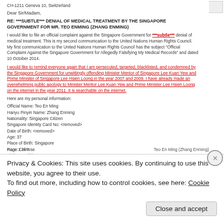CH-1211 Geneva 10, Switzerland
Dear Sir/Madam,
RE: ***SUBTLE*** DENIAL OF MEDICAL TREATMENT BY THE SINGAPORE GOVERNMENT FOR MR. TEO ENMING (ZHANG ENMING)
I would like to file an official complaint against the Singapore Government for ***subtle*** denial of medical treatment. This is my second communication to the United Nations Human Rights Council. My first communication to the United Nations Human Rights Council has the subject "Official Complaint Against the Singapore Government for Allegedly Falsifying My Medical Records" and dated 10 October 2014.
I would like to remind everyone again that I am persecuted, targeted, blacklisted, and condemned by the Singapore Government for unwittingly offending Minister Mentor of Singapore Lee Kuan Yew and Prime Minister of Singapore Lee Hsien Loong in the year 2007 and 2009. I have already made an overwhelming public apology to Minister Mentor Lee Kuan Yew and Prime Minister Lee Hsien Loong on the internet in the year 2011. It is searchable on the internet.
Here are my personal information:
Official Name: Teo En Ming
Hanyu Pinyin Name: Zhang Enming
Nationality: Singapore Citizen
Singapore Identity Card No: <removed>
Date of Birth: <removed>
Age: 37
Place of Birth: Singapore
Race: Chinese
Dialect: Hokkien
Page 1 of 7                    Teo En Ming (Zhang Enming)
Privacy & Cookies: This site uses cookies. By continuing to use this website, you agree to their use.
To find out more, including how to control cookies, see here: Cookie Policy
Close and accept